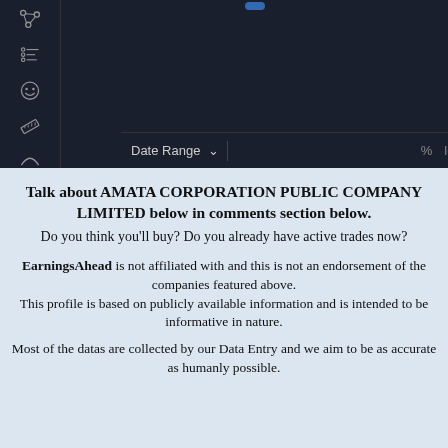[Figure (screenshot): Dark-themed stock charting interface screenshot showing a sidebar with icons (graph, list, smiley, ruler) and a chart area with Date Range dropdown and % / log / auto controls]
Talk about AMATA CORPORATION PUBLIC COMPANY LIMITED below in comments section below.
Do you think you'll buy? Do you already have active trades now?
EarningsAhead is not affiliated with and this is not an endorsement of the companies featured above. This profile is based on publicly available information and is intended to be informative in nature.
Most of the datas are collected by our Data Entry and we aim to be as accurate as humanly possible.